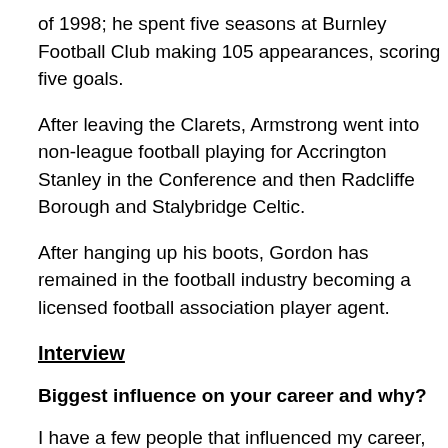of 1998; he spent five seasons at Burnley Football Club making 105 appearances, scoring five goals.
After leaving the Clarets, Armstrong went into non-league football playing for Accrington Stanley in the Conference and then Radcliffe Borough and Stalybridge Celtic.
After hanging up his boots, Gordon has remained in the football industry becoming a licensed football association player agent.
Interview
Biggest influence on your career and why?
I have a few people that influenced my career, first of all Mam and Dad who took me everywhere to the games. Plus my youth team coaches George Herd, Ian Hughes